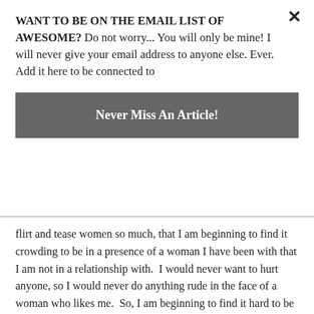WANT TO BE ON THE EMAIL LIST OF AWESOME? Do not worry... You will only be mine! I will never give your email address to anyone else. Ever. Add it here to be connected to
Never Miss An Article!
flirt and tease women so much, that I am beginning to find it crowding to be in a presence of a woman I have been with that I am not in a relationship with.  I would never want to hurt anyone, so I would never do anything rude in the face of a woman who likes me.  So, I am beginning to find it hard to be in the presence of a woman I have been with while a group of us are later in places like restaurants and I am unable to feel comfortable freely smiling at our waitress or asking her questions that are leading.  I have been made to feel terrible by girls many times in my life and I know just how awful that is to experience so I try to be as diplomatic as possible, but then it cuts off my ability to act out the way my mind tells me it